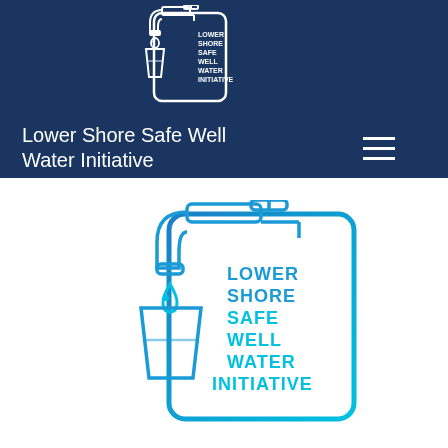[Figure (logo): Lower Shore Safe Well Water Initiative logo in white on dark navy background — faucet with water drop falling into glass, with text LOWER SHORE SAFE WELL WATER INITIATIVE inside a rounded rectangle border]
Lower Shore Safe Well Water Initiative
[Figure (logo): Lower Shore Safe Well Water Initiative logo in blue/cyan gradient — faucet with water drop falling into glass, with text LOWER SHORE SAFE WELL WATER INITIATIVE inside a rounded rectangle border, rendered in blue and cyan colors on white background]